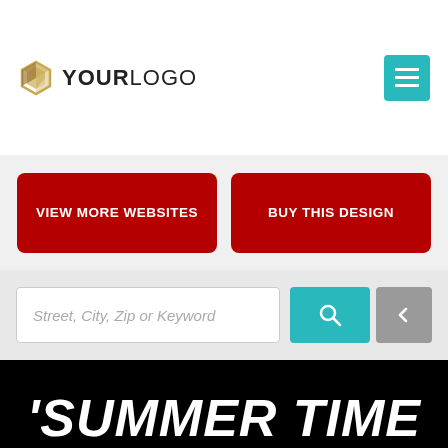[Figure (logo): YOURLOGO with a geometric diamond/hexagon icon in gold/bronze tones on the left]
[Figure (screenshot): Teal hamburger menu button (three horizontal white bars) in top right corner]
[Figure (screenshot): Two red CTA buttons: VIEW MORE WEBSITES and BUY THIS DESIGN]
[Figure (screenshot): Search bar with placeholder 'Street, City, Zip or Keyword', teal search button, and gray arrow button on right edge]
[Figure (photo): Circular avatar photo of a middle-aged man with glasses wearing a dark suit, on black background]
'SUMMER TIME